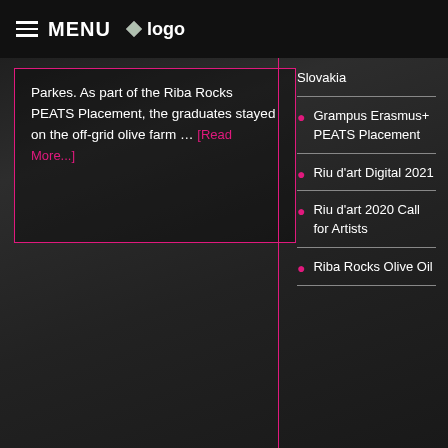MENU logo
Parkes. As part of the Riba Rocks PEATS Placement, the graduates stayed on the off-grid olive farm … [Read More...]
Slovakia
Grampus Erasmus+ PEATS Placement
Riu d'art Digital 2021
Riu d'art 2020 Call for Artists
Riba Rocks Olive Oil